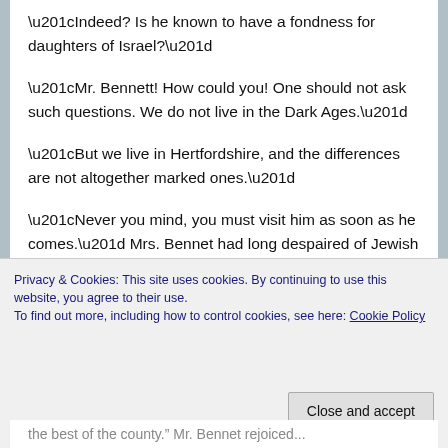“Indeed?  Is he known to have a fondness for daughters of Israel?”
“Mr. Bennett!  How could you!  One should not ask such questions. We do not live in the Dark Ages.”
“But we live in Hertfordshire, and the differences are not altogether marked ones.”
“Never you mind, you must visit him as soon as he comes.”  Mrs. Bennet had long despaired of Jewish husbands for her girls,  given their rural situation, and seeing each girl settled with any man of means whatsoever was her deepest desire.
Privacy & Cookies: This site uses cookies. By continuing to use this website, you agree to their use.
To find out more, including how to control cookies, see here: Cookie Policy
Close and accept
the best of the county.” Mr. Bennet rejoiced...